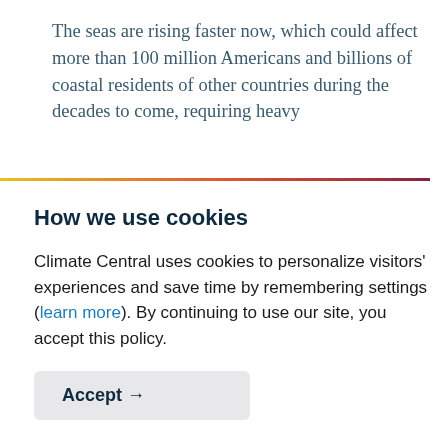The seas are rising faster now, which could affect more than 100 million Americans and billions of coastal residents of other countries during the decades to come, requiring heavy
How we use cookies
Climate Central uses cookies to personalize visitors' experiences and save time by remembering settings (learn more). By continuing to use our site, you accept this policy.
Accept →